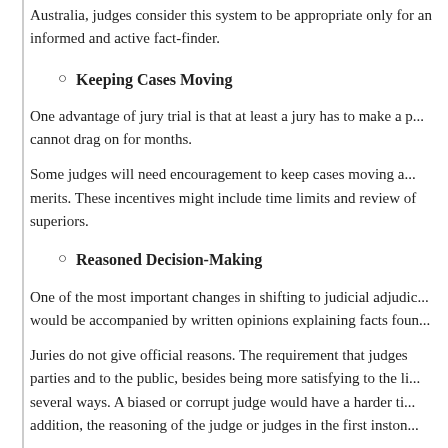Australia, judges consider this system to be appropriate only for an informed and active fact-finder.
Keeping Cases Moving
One advantage of jury trial is that at least a jury has to make a p... cannot drag on for months.
Some judges will need encouragement to keep cases moving a... merits. These incentives might include time limits and review of... superiors.
Reasoned Decision-Making
One of the most important changes in shifting to judicial adjudic... would be accompanied by written opinions explaining facts foun...
Juries do not give official reasons. The requirement that judges... parties and to the public, besides being more satisfying to the li... several ways. A biased or corrupt judge would have a harder ti... addition, the reasoning of the judge or judges in the first inston...